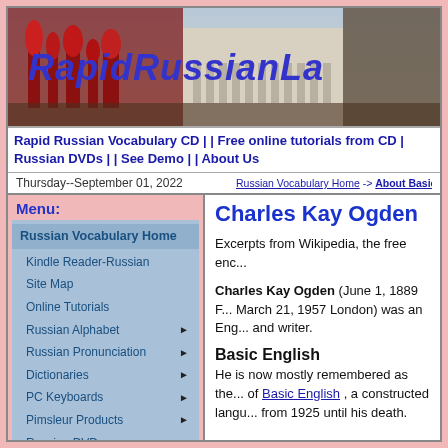[Figure (photo): Banner image of RapidRussianLanguage website showing Red Square and Kremlin in Moscow, with italic bold blue title 'RapidRussianLa...' overlaid]
Rapid Russian Vocabulary CD | | Free online tutorials from CD | Russian DVDs | | See Demo | | About Us
Thursday--September 01, 2022   Russian Vocabulary Home -> About Basic Words ->
Menu:
Russian Vocabulary Home
Kindle Reader-Russian
Site Map
Online Tutorials
Russian Alphabet ▶
Russian Pronunciation ▶
Dictionaries ▶
PC Keyboards ▶
Pimsleur Products ▶
Russian DVDs
Search DVD Titles
DVD Classics ▶
Charles Kay Ogden
Excerpts from Wikipedia, the free enc...
Charles Kay Ogden (June 1, 1889 F... March 21, 1957 London) was an Eng... and writer.
Basic English
He is now mostly remembered as the... of Basic English , a constructed langu... from 1925 until his death.